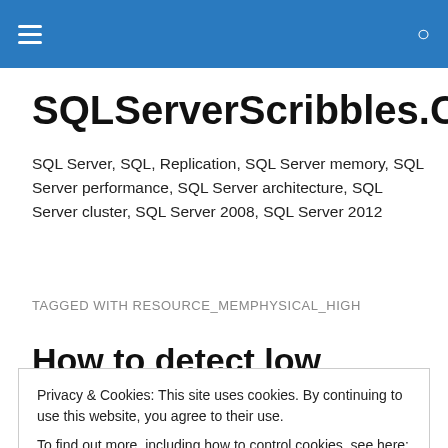SQLServerScribbles.COM navigation bar
SQLServerScribbles.COM
SQL Server, SQL, Replication, SQL Server memory, SQL Server performance, SQL Server architecture, SQL Server cluster, SQL Server 2008, SQL Server 2012
TAGGED WITH RESOURCE_MEMPHYSICAL_HIGH
How to detect low memory
Privacy & Cookies: This site uses cookies. By continuing to use this website, you agree to their use.
To find out more, including how to control cookies, see here: Cookie Policy
conditions in SQL Server using the